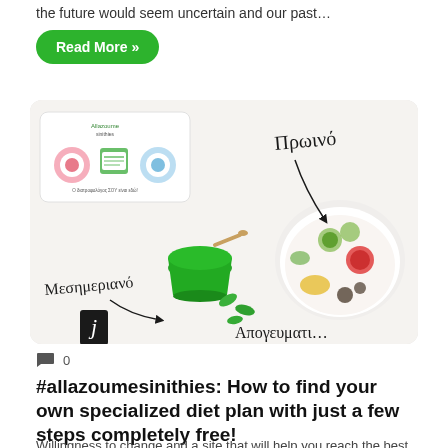the future would seem uncertain and our past…
Read More »
[Figure (photo): Flat-lay photo of Greek diet meal plan with green smoothie bowl, vegetable bowl, and handwritten Greek labels (Πρωινό, Μεσημεριανό, Απογευματι...) and an infographic card in top-left corner]
💬 0
#allazoumesinithies: How to find your own specialized diet plan with just a few steps completely free!
Willingness to change and a site that will help you reach the best